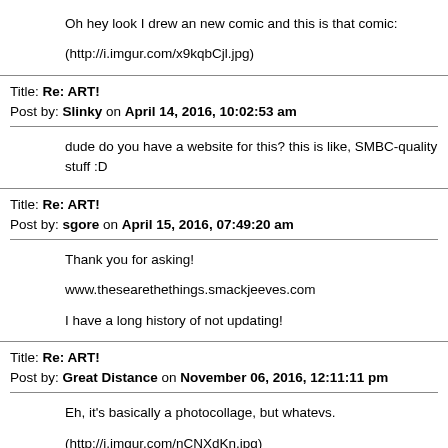Oh hey look I drew an new comic and this is that comic:

(http://i.imgur.com/x9kqbCjl.jpg)
Title: Re: ART!
Post by: Slinky on April 14, 2016, 10:02:53 am
dude do you have a website for this? this is like, SMBC-quality stuff :D
Title: Re: ART!
Post by: sgore on April 15, 2016, 07:49:20 am
Thank you for asking!

www.thesearethethings.smackjeeves.com

I have a long history of not updating!
Title: Re: ART!
Post by: Great Distance on November 06, 2016, 12:11:11 pm
Eh, it's basically a photocollage, but whatevs.

(http://i.imgur.com/nCNXdKn.jpg)